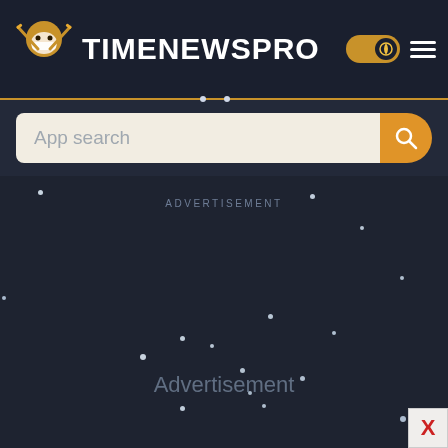TIMENEWSPRO
App search
ADVERTISEMENT
Advertisement